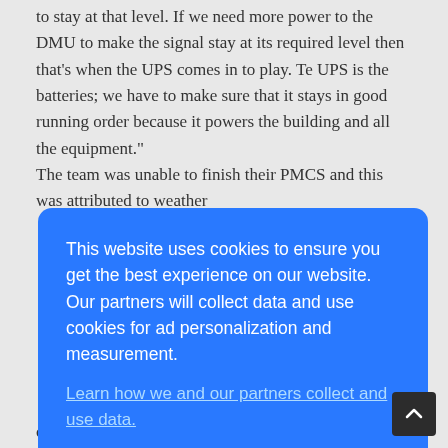to stay at that level. If we need more power to the DMU to make the signal stay at its required level then that's when the UPS comes in to play. Te UPS is the batteries; we have to make sure that it stays in good running order because it powers the building and all the equipment." The team was unable to finish their PMCS and this was attributed to weather
[Figure (screenshot): Cookie consent overlay dialog with blue background. Text reads: 'This website uses cookies to ensure you get the best experience on our website. Our partners will collect data and use cookies for ad personalization and measurement.' A link reads 'Learn how we and our partners collect and use data.' An OK button is shown at the bottom.]
complete," said Stewart.